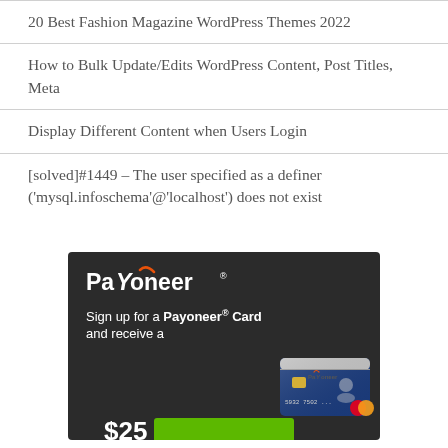20 Best Fashion Magazine WordPress Themes 2022
How to Bulk Update/Edits WordPress Content, Post Titles, Meta
Display Different Content when Users Login
[solved]#1449 – The user specified as a definer ('mysql.infoschema'@'localhost') does not exist
[Figure (illustration): Payoneer advertisement banner. Dark background with Payoneer logo at top left. Text: 'Sign up for a Payoneer® Card and receive a $25 Bonus'. A Payoneer debit card shown at bottom right. Green button at bottom.]